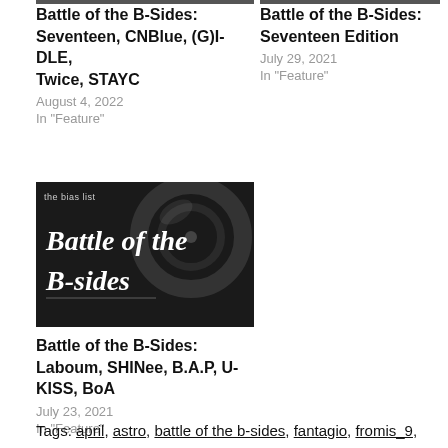[Figure (photo): Dark gray top bar for left article thumbnail]
Battle of the B-Sides: Seventeen, CNBlue, (G)I-DLE, Twice, STAYC
August 4, 2022
In "Feature"
[Figure (photo): Dark gray top bar for right article thumbnail]
Battle of the B-Sides: Seventeen Edition
July 29, 2021
In "Feature"
[Figure (photo): Dark album art image with text 'the bias list' at top left and bold white styled text reading 'Battle of the B-sides']
Battle of the B-Sides: Laboum, SHINee, B.A.P, U-KISS, BoA
July 23, 2021
In "Feature"
Tags: april, astro, battle of the b-sides, fantagio, fromis_9,